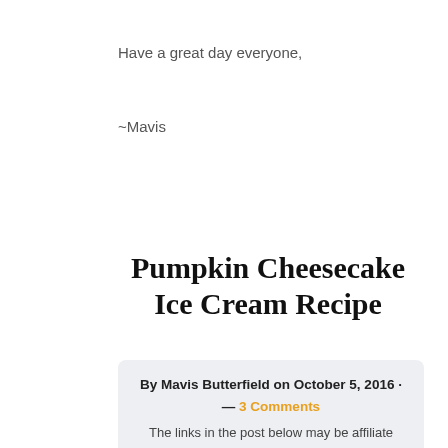Have a great day everyone,
~Mavis
Pumpkin Cheesecake Ice Cream Recipe
By Mavis Butterfield on October 5, 2016 · — 3 Comments
The links in the post below may be affiliate links. Read the full disclosure